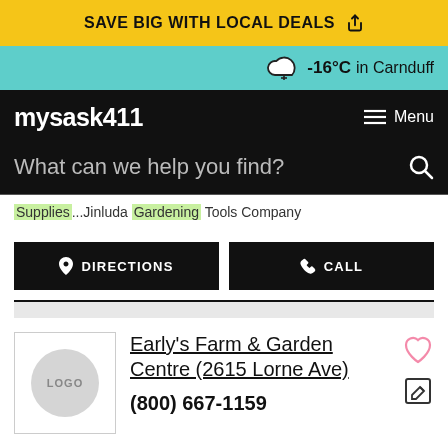SAVE BIG WITH LOCAL DEALS
-16°C in Carnduff
mysask411  Menu
What can we help you find?
Supplies...Jinluda Gardening Tools Company
DIRECTIONS  CALL
[Figure (screenshot): Gray bar separator]
Early's Farm & Garden Centre (2615 Lorne Ave)
(800) 667-1159